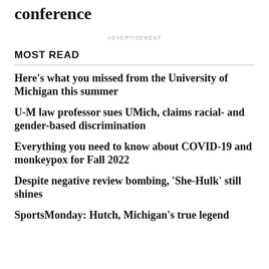conference
ADVERTISEMENT
MOST READ
Here's what you missed from the University of Michigan this summer
U-M law professor sues UMich, claims racial- and gender-based discrimination
Everything you need to know about COVID-19 and monkeypox for Fall 2022
Despite negative review bombing, ‘She-Hulk’ still shines
SportsMonday: Hutch, Michigan’s true legend